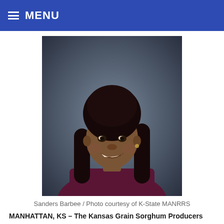≡ MENU
[Figure (photo): Portrait photo of Sanders Barbee, a young woman with braided hair wearing a dark maroon top, smiling, against a dark gray background.]
Sanders Barbee / Photo courtesy of K-State MANRRS
MANHATTAN, KS – The Kansas Grain Sorghum Producers